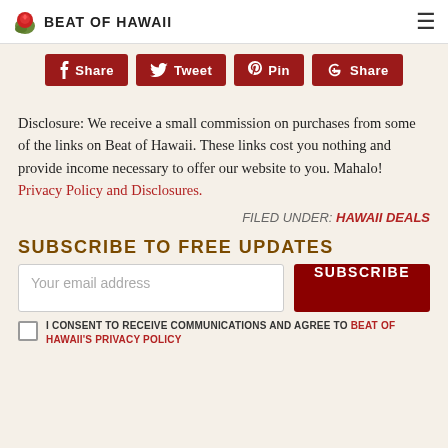BEAT OF HAWAIi
[Figure (infographic): Social share buttons: Share (Facebook), Tweet (Twitter), Pin (Pinterest), Share (Google+)]
Disclosure: We receive a small commission on purchases from some of the links on Beat of Hawaii. These links cost you nothing and provide income necessary to offer our website to you. Mahalo! Privacy Policy and Disclosures.
FILED UNDER: HAWAII DEALS
SUBSCRIBE TO FREE UPDATES
I CONSENT TO RECEIVE COMMUNICATIONS AND AGREE TO BEAT OF HAWAII'S PRIVACY POLICY